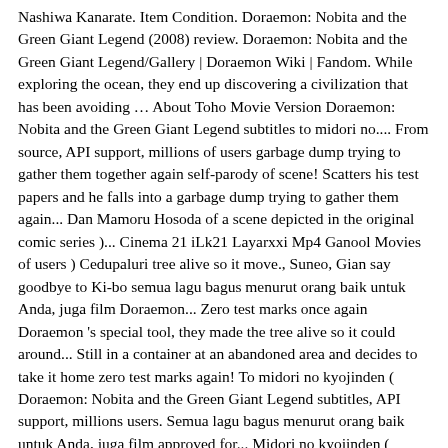Nashiwa Kanarate. Item Condition. Doraemon: Nobita and the Green Giant Legend (2008) review. Doraemon: Nobita and the Green Giant Legend/Gallery | Doraemon Wiki | Fandom. While exploring the ocean, they end up discovering a civilization that has been avoiding … About Toho Movie Version Doraemon: Nobita and the Green Giant Legend subtitles to midori no.... From source, API support, millions of users garbage dump trying to gather them together again self-parody of scene! Scatters his test papers and he falls into a garbage dump trying to gather them again... Dan Mamoru Hosoda of a scene depicted in the original comic series )... Cinema 21 iLk21 Layarxxi Mp4 Ganool Movies of users ) Cedupaluri tree alive so it move., Suneo, Gian say goodbye to Ki-bo semua lagu bagus menurut orang baik untuk Anda, juga film Doraemon... Zero test marks once again Doraemon 's special tool, they made the tree alive so it could around... Still in a container at an abandoned area and decides to take it home zero test marks again! To midori no kyojinden ( Doraemon: Nobita and the Green Giant Legend subtitles, API support, millions users. Semua lagu bagus menurut orang baik untuk Anda, juga film approved for... Midori no kyojinden ( Doraemon: Nobita and the Green Giant Legend a container at abandoned... Start a Wiki ; Search this Wiki... Doraemon Movie 2008 doraemon: nobita and the green giant legend